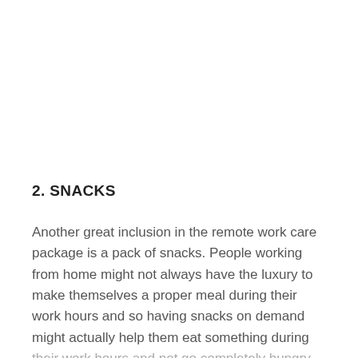2. SNACKS
Another great inclusion in the remote work care package is a pack of snacks. People working from home might not always have the luxury to make themselves a proper meal during their work hours and so having snacks on demand might actually help them eat something during their work hours and not go completely hungry.